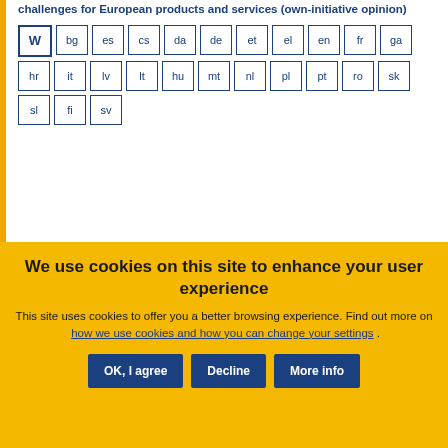challenges for European products and services (own-initiative opinion)
W bg es cs da de et el en fr ga hr it lv lt hu mt nl pl pt ro sk sl fi sv
Euro area economic policy 2019 (additional opinion)
Opinion
We use cookies on this site to enhance your user experience
This site uses cookies to offer you a better browsing experience. Find out more on how we use cookies and how you can change your settings .